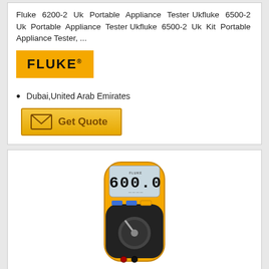Fluke 6200-2 Uk Portable Appliance Tester Ukfluke 6500-2 Uk Portable Appliance Tester Ukfluke 6500-2 Uk Kit Portable Appliance Tester, ...
[Figure (logo): Fluke brand logo — orange/yellow rectangle with bold black FLUKE. text]
Dubai,United Arab Emirates
[Figure (other): Get Quote button with envelope icon on amber/gold gradient background]
[Figure (photo): Photo of a Fluke 110 series digital multimeter showing 600.0 on display, yellow and black body with rotary dial]
FLUKE 110 SERIES MULTIMETERS
Designed By Electricians. Engineered By Fluke.compact True-rms Meter For Electrical